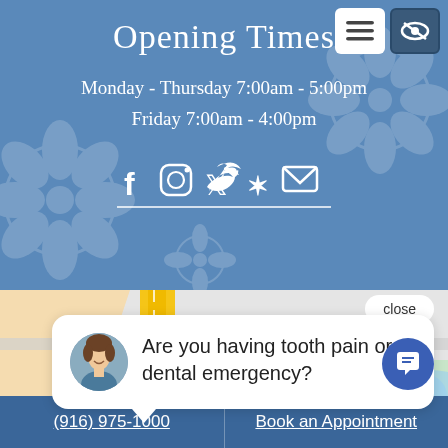Opening Times
Monday - Thursday 7:00am - 5:00pm
Friday 7:00am - 4:00pm
[Figure (infographic): Social media icons: Facebook, Instagram, Twitter, Yelp, Email]
[Figure (screenshot): Close button overlay on map]
[Figure (map): Google Maps showing location near Interstate 5, Huckleberry's label visible]
Are you having tooth pain or dental emergency?
(916) 975-1000 | Book an Appointment